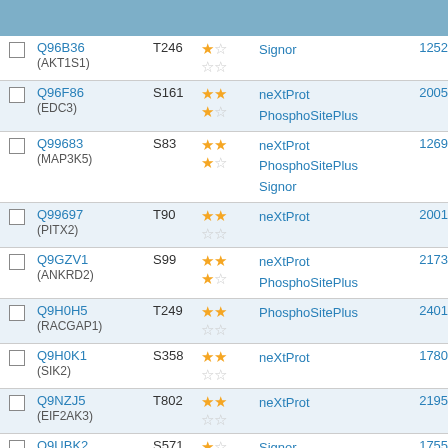|  | Protein | Site | Score | Source | PMID |
| --- | --- | --- | --- | --- | --- |
| ☐ | Q96B36 (AKT1S1) | T246 | ★☆ ☆☆ | Signor | 12524439 |
| ☐ | Q96F86 (EDC3) | S161 | ★★ ★☆ | neXtProt PhosphoSitePlus | 20051463 |
| ☐ | Q99683 (MAP3K5) | S83 | ★★ ★☆ | neXtProt PhosphoSitePlus Signor | 12697749 |
| ☐ | Q99697 (PITX2) | T90 | ★★ ☆☆ | neXtProt | 20019746 |
| ☐ | Q9GZV1 (ANKRD2) | S99 | ★★ ★☆ | neXtProt PhosphoSitePlus | 21737686 |
| ☐ | Q9H0H5 (RACGAP1) | T249 | ★★ ☆☆ | PhosphoSitePlus | 24019536 |
| ☐ | Q9H0K1 (SIK2) | S358 | ★★ ☆☆ | neXtProt | 17805301 |
| ☐ | Q9NZJ5 (EIF2AK3) | T802 | ★★ ☆☆ | neXtProt | 21954288 |
| ☐ | Q9UBK2 (PPARGC1A) | S571 | ★☆ ☆☆ | Signor | 17554339 |
| ☐ | Q9Y3M2 | S20 | ★★ | neXtProt | 18573912 |